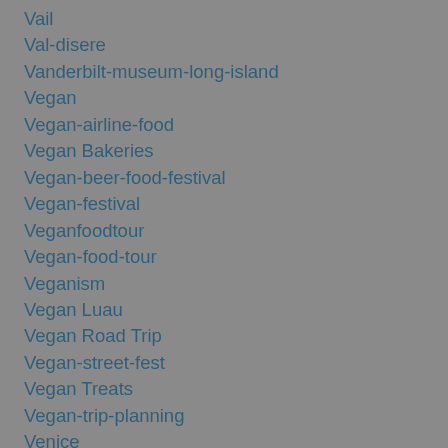Vail
Val-disere
Vanderbilt-museum-long-island
Vegan
Vegan-airline-food
Vegan Bakeries
Vegan-beer-food-festival
Vegan-festival
Veganfoodtour
Vegan-food-tour
Veganism
Vegan Luau
Vegan Road Trip
Vegan-street-fest
Vegan Treats
Vegan-trip-planning
Venice
Veterans-day
Vienna
Voodoo-doughnuts
Wagu